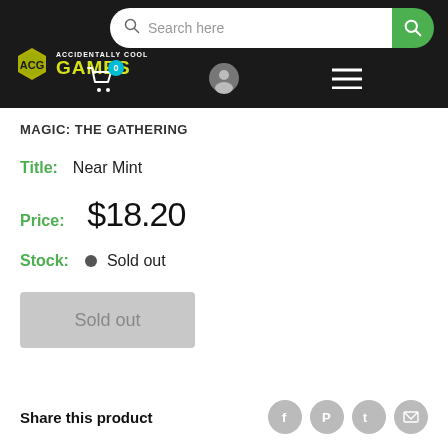[Figure (screenshot): Accidentally Cool Games website header with logo, search bar, cart icon with badge 0, user icon, and hamburger menu]
MAGIC: THE GATHERING
Title:  Near Mint
Price:  $18.20
Stock:  • Sold out
[Figure (other): Sold out button (greyed out)]
Share this product